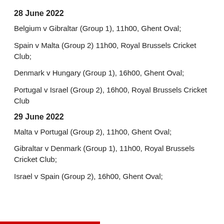28 June 2022
Belgium v Gibraltar (Group 1), 11h00, Ghent Oval;
Spain v Malta (Group 2) 11h00, Royal Brussels Cricket Club;
Denmark v Hungary (Group 1), 16h00, Ghent Oval;
Portugal v Israel (Group 2), 16h00, Royal Brussels Cricket Club
29 June 2022
Malta v Portugal (Group 2), 11h00, Ghent Oval;
Gibraltar v Denmark (Group 1), 11h00, Royal Brussels Cricket Club;
Israel v Spain (Group 2), 16h00, Ghent Oval;